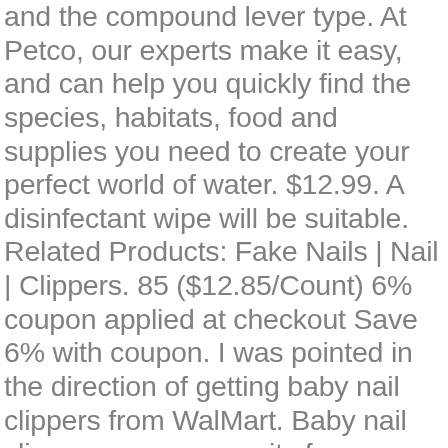and the compound lever type. At Petco, our experts make it easy, and can help you quickly find the species, habitats, food and supplies you need to create your perfect world of water. $12.99. A disinfectant wipe will be suitable. Related Products: Fake Nails | Nail | Clippers. 85 ($12.85/Count) 6% coupon applied at checkout Save 6% with coupon. I was pointed in the direction of getting baby nail clippers from WalMart. Baby nail clippers are a necessity for your newborn. Consider this. Azurro Clipperpro offers you the basic, professional, swivel, easy grip and best ergonomic nail clipper to improve and modernize the time tested nail clipper. Click here for all Walmart deals. The best nail clippers will cut your nails without bending or damaging them. PrettyDiva Nail Clippers For Thick Nail - Wide Jaw Opening Nail Clipper for Thick Toenails,Stainless Steel Heavy Duty Toenail Clipper for Tough Nails,Extra Larger Nail Clipper for Men Seniors -